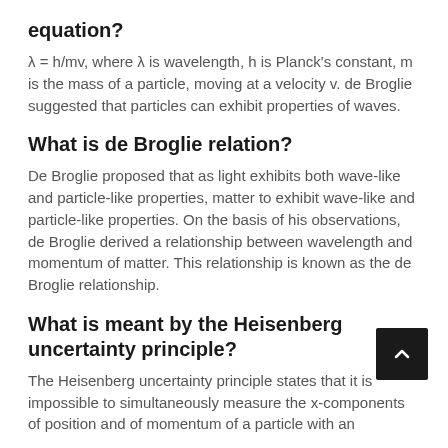equation?
λ = h/mv, where λ is wavelength, h is Planck's constant, m is the mass of a particle, moving at a velocity v. de Broglie suggested that particles can exhibit properties of waves.
What is de Broglie relation?
De Broglie proposed that as light exhibits both wave-like and particle-like properties, matter to exhibit wave-like and particle-like properties. On the basis of his observations, de Broglie derived a relationship between wavelength and momentum of matter. This relationship is known as the de Broglie relationship.
What is meant by the Heisenberg uncertainty principle?
The Heisenberg uncertainty principle states that it is impossible to simultaneously measure the x-components of position and of momentum of a particle with an